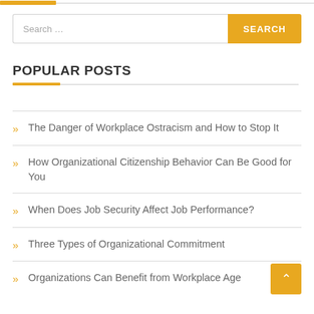Search ...
POPULAR POSTS
» The Danger of Workplace Ostracism and How to Stop It
» How Organizational Citizenship Behavior Can Be Good for You
» When Does Job Security Affect Job Performance?
» Three Types of Organizational Commitment
» Organizations Can Benefit from Workplace Age